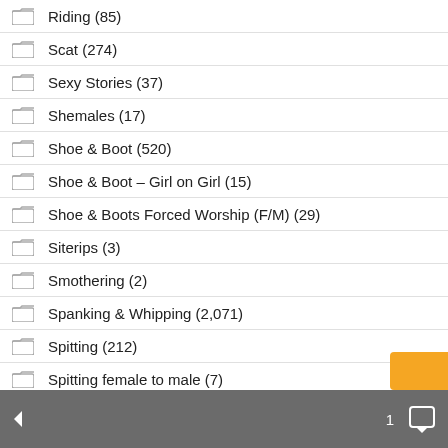Riding (85)
Scat (274)
Sexy Stories (37)
Shemales (17)
Shoe & Boot (520)
Shoe & Boot – Girl on Girl (15)
Shoe & Boots Forced Worship (F/M) (29)
Siterips (3)
Smothering (2)
Spanking & Whipping (2,071)
Spitting (212)
Spitting female to male (7)
Strap-on (1,043)
Teens (79)
1